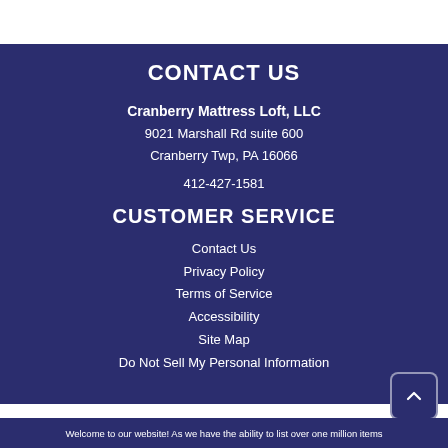CONTACT US
Cranberry Mattress Loft, LLC
9021 Marshall Rd suite 600
Cranberry Twp, PA 16066
412-427-1581
CUSTOMER SERVICE
Contact Us
Privacy Policy
Terms of Service
Accessibility
Site Map
Do Not Sell My Personal Information
Welcome to our website! As we have the ability to list over one million items